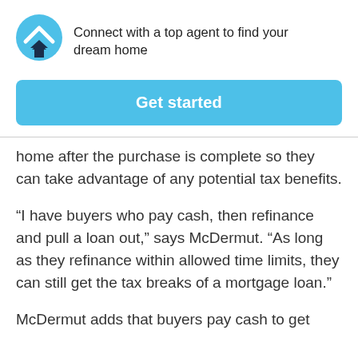Connect with a top agent to find your dream home
[Figure (other): Blue button labeled 'Get started']
home after the purchase is complete so they can take advantage of any potential tax benefits.
“I have buyers who pay cash, then refinance and pull a loan out,” says McDermut. “As long as they refinance within allowed time limits, they can still get the tax breaks of a mortgage loan.”
McDermut adds that buyers pay cash to get